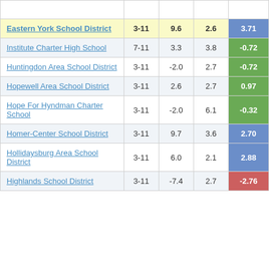| School/District | Grades | Col3 | Col4 | Score |
| --- | --- | --- | --- | --- |
| (partially visible top row) |  |  |  |  |
| Eastern York School District | 3-11 | 9.6 | 2.6 | 3.71 |
| Institute Charter High School | 7-11 | 3.3 | 3.8 | -0.72 |
| Huntingdon Area School District | 3-11 | -2.0 | 2.7 | -0.72 |
| Hopewell Area School District | 3-11 | 2.6 | 2.7 | 0.97 |
| Hope For Hyndman Charter School | 3-11 | -2.0 | 6.1 | -0.32 |
| Homer-Center School District | 3-11 | 9.7 | 3.6 | 2.70 |
| Hollidaysburg Area School District | 3-11 | 6.0 | 2.1 | 2.88 |
| Highlands School District | 3-11 | -7.4 | 2.7 | -2.76 |